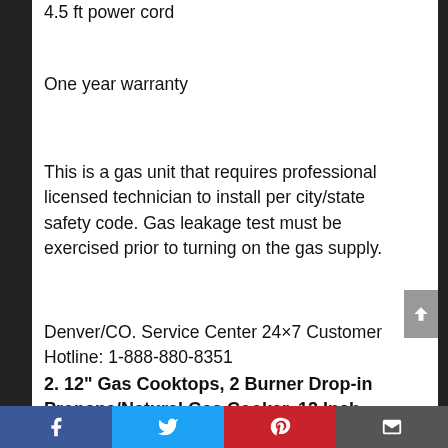4.5 ft power cord
One year warranty
This is a gas unit that requires professional licensed technician to install per city/state safety code. Gas leakage test must be exercised prior to turning on the gas supply.
Denver/CO. Service Center 24×7 Customer Hotline: 1-888-880-8351
2. 12" Gas Cooktops, 2 Burner Drop-in Propane/Natural Gas Cooker, 12 Inch Stainless Steel Gas